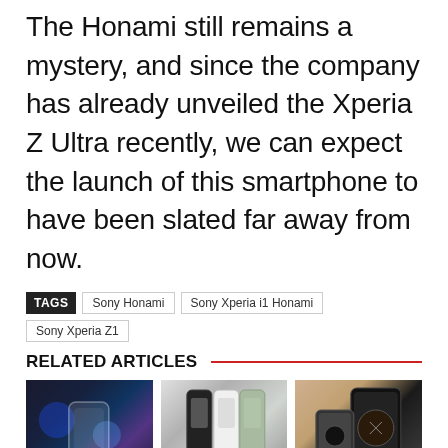The Honami still remains a mystery, and since the company has already unveiled the Xperia Z Ultra recently, we can expect the launch of this smartphone to have been slated far away from now.
TAGS: Sony Honami | Sony Xperia i1 Honami | Sony Xperia Z1
RELATED ARTICLES
[Figure (photo): Samsung Galaxy S23 Ultra smartphone with blue light bokeh background, Mobile Phones category]
Samsung Galaxy S23 Ultra To Come
[Figure (photo): Wireless charging concept with Google Pixel 6a phones in multiple colors, Mobile Phones category]
Wireless Charging Stops For
[Figure (photo): Motorola Moto Razr 2022 foldable phone on beige background, Mobile Phones category]
Motorola Moto Razr 2022 Foldable